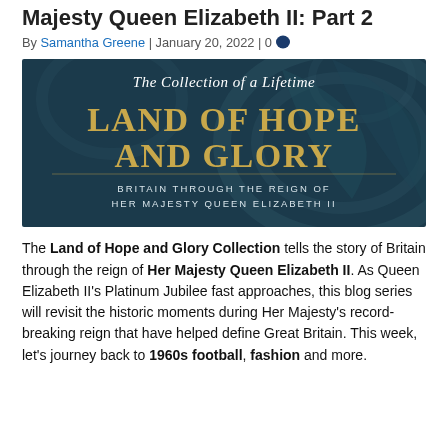Majesty Queen Elizabeth II: Part 2
By Samantha Greene | January 20, 2022 | 0
[Figure (illustration): Banner image with dark teal background and decorative floral motif. Text: 'The Collection of a Lifetime' in italic white, 'LAND OF HOPE AND GLORY' in large gold serif font, 'BRITAIN THROUGH THE REIGN OF HER MAJESTY QUEEN ELIZABETH II' in white caps.]
The Land of Hope and Glory Collection tells the story of Britain through the reign of Her Majesty Queen Elizabeth II. As Queen Elizabeth II's Platinum Jubilee fast approaches, this blog series will revisit the historic moments during Her Majesty's record-breaking reign that have helped define Great Britain. This week, let's journey back to 1960s football, fashion and more.